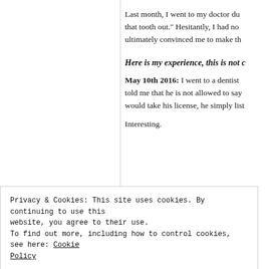Last month, I went to my doctor du... that tooth out.” Hesitantly, I had no... ultimately convinced me to make th...
Here is my experience, this is not c...
May 10th 2016: I went to a dentist... told me that he is not allowed to say... would take his license, he simply list...
Interesting.
Privacy & Cookies: This site uses cookies. By continuing to use this website, you agree to their use.
To find out more, including how to control cookies, see here: Cookie Policy
Close and accept